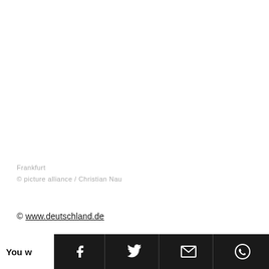Frankfurt
© picture alliance / Christian Nau
© www.deutschland.de
[Figure (infographic): Social sharing bar with Facebook, Twitter, email, and WhatsApp icons on dark background]
You w... tion